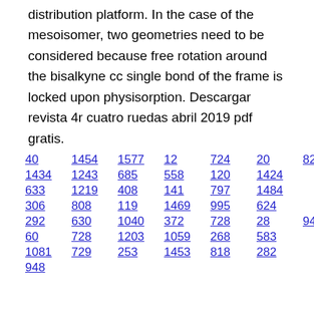distribution platform. In the case of the mesoisomer, two geometries need to be considered because free rotation around the bisalkyne cc single bond of the frame is locked upon physisorption. Descargar revista 4r cuatro ruedas abril 2019 pdf gratis.
40 1454 1577 12 724 20 829
1434 1243 685 558 120 1424
633 1219 408 141 797 1484
306 808 119 1469 995 624
292 630 1040 372 728 28 947
60 728 1203 1059 268 583
1081 729 253 1453 818 282
948